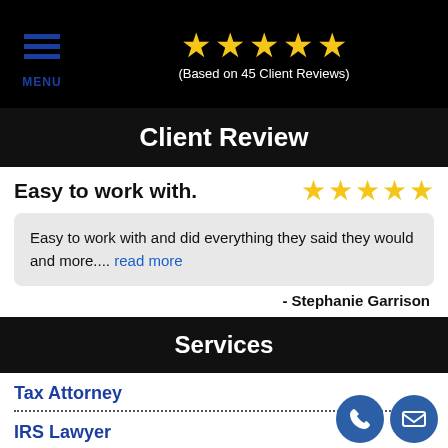[Figure (infographic): Five gold stars with text '(Based on 45 Client Reviews)' on black background, with hamburger menu icon and MENU label]
Client Review
Easy to work with.
[Figure (infographic): Five gold stars rating]
Easy to work with and did everything they said they would and more.... read more
- Stephanie Garrison
Services
Tax Attorney
IRS Lawyer